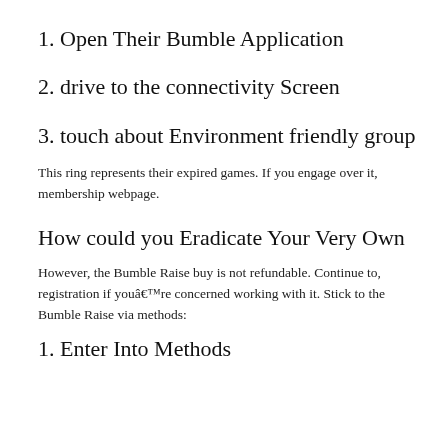1. Open Their Bumble Application
2. drive to the connectivity Screen
3. touch about Environment friendly group
This ring represents their expired games. If you engage over it, membership webpage.
How could you Eradicate Your Very Own
However, the Bumble Raise buy is not refundable. Continue to, registration if youâ€™re concerned working with it. Stick to the Bumble Raise via methods:
1. Enter Into Methods